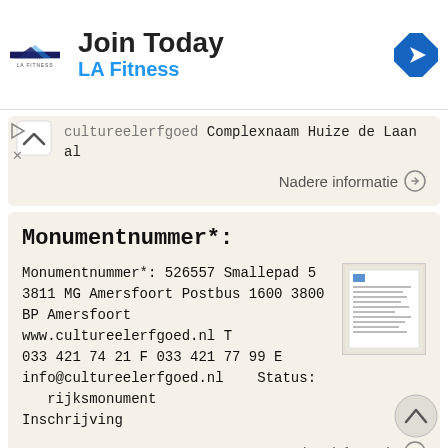[Figure (screenshot): LA Fitness advertisement banner with logo, 'Join Today' text, and blue navigation icon]
CultureelerfgoedComplexnaam Huize de Laan al
Nadere informatie →
Monumentnummer*:
Monumentnummer*: 526557 Smallepad 5 3811 MG Amersfoort Postbus 1600 3800 BP Amersfoort www.cultureelerfgoed.nl T 033 421 74 21 F 033 421 77 99 E info@cultureelerfgoed.nl Status: rijksmonument Inschrijving
Nadere informatie →
Bennebroekerlaan 10, Bouwijaar : Circa